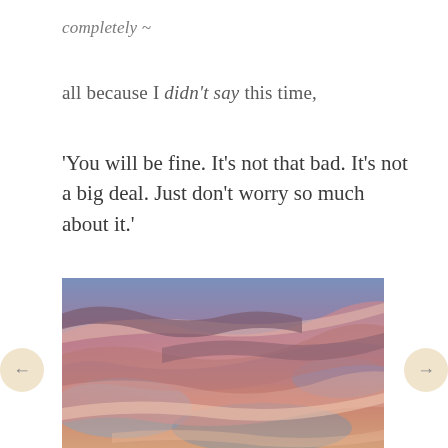completely ~
all because I didn't say this time,
'You will be fine. It's not that bad. It's not a big deal. Just don't worry so much about it.'
[Figure (photo): A photograph of a dramatic sunset sky with pink, orange, and purple clouds streaking across a blue sky.]